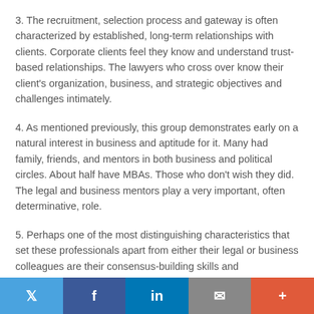3. The recruitment, selection process and gateway is often characterized by established, long-term relationships with clients. Corporate clients feel they know and understand trust-based relationships. The lawyers who cross over know their client's organization, business, and strategic objectives and challenges intimately.
4. As mentioned previously, this group demonstrates early on a natural interest in business and aptitude for it. Many had family, friends, and mentors in both business and political circles. About half have MBAs. Those who don't wish they did. The legal and business mentors play a very important, often determinative, role.
5. Perhaps one of the most distinguishing characteristics that set these professionals apart from either their legal or business colleagues are their consensus-building skills and